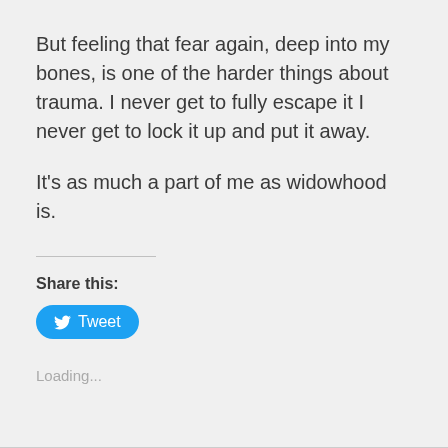But feeling that fear again, deep into my bones, is one of the harder things about trauma. I never get to fully escape it I never get to lock it up and put it away.
It's as much a part of me as widowhood is.
Share this:
[Figure (other): Twitter Tweet button — blue rounded pill button with Twitter bird icon and 'Tweet' label]
Loading...